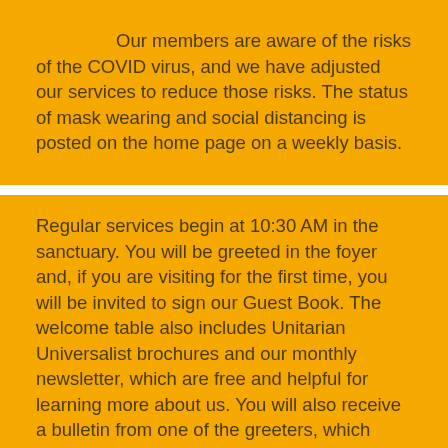Our members are aware of the risks of the COVID virus, and we have adjusted our services to reduce those risks. The status of mask wearing and social distancing is posted on the home page on a weekly basis.
Regular services begin at 10:30 AM in the sanctuary. You will be greeted in the foyer and, if you are visiting for the first time, you will be invited to sign our Guest Book. The welcome table also includes Unitarian Universalist brochures and our monthly newsletter, which are free and helpful for learning more about us. You will also receive a bulletin from one of the greeters, which includes announcements and the order of service for that day.